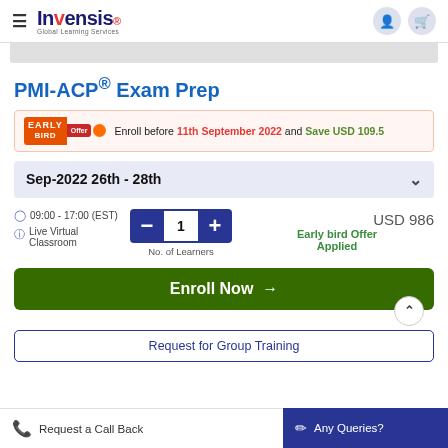Invensis Global Learning Services
PMI-ACP® Exam Prep
Enroll before 11th September 2022 and Save USD 109.5
Sep-2022 26th - 28th
09:00 - 17:00 (EST) Live Virtual Classroom
1 No. of Learners
USD 986 Early bird Offer Applied
Enroll Now →
Request for Group Training
Request a Call Back   Any Queries?